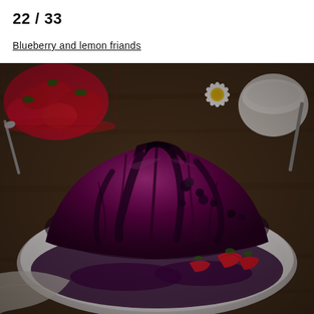22 / 33
Blueberry and lemon friands
[Figure (photo): A domed summer pudding covered in dark berry sauce on a white plate, with strawberries and a white daisy flower as garnish, photographed on a rustic wooden surface with a bowl of strawberries in the background.]